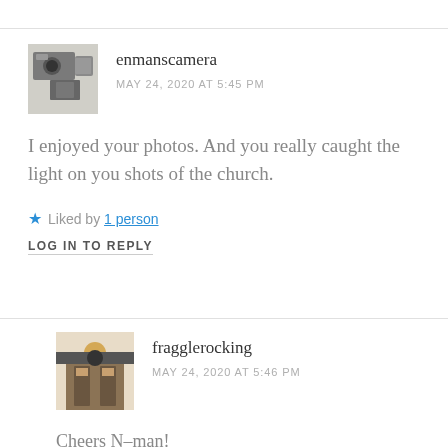enmanscamera
MAY 24, 2020 AT 5:45 PM
I enjoyed your photos. And you really caught the light on you shots of the church.
Liked by 1 person
LOG IN TO REPLY
fragglerocking
MAY 24, 2020 AT 5:46 PM
Cheers N-man!